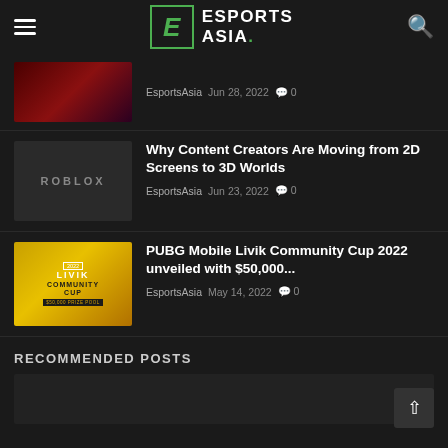Esports Asia
[Figure (screenshot): Warcraft game thumbnail with dark red tones]
EsportsAsia  Jun 28, 2022  0
Why Content Creators Are Moving from 2D Screens to 3D Worlds
EsportsAsia  Jun 23, 2022  0
[Figure (screenshot): PUBG Mobile Livik Community Cup 2022 promotional banner with yellow/gold theme showing $50,000 prize pool]
PUBG Mobile Livik Community Cup 2022 unveiled with $50,000...
EsportsAsia  May 14, 2022  0
RECOMMENDED POSTS